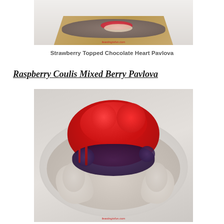[Figure (photo): Top-down view of a heart-shaped chocolate pavlova on a wooden board, decorated with strawberries and cream swirls, with watermark feastingisfun.com]
Strawberry Topped Chocolate Heart Pavlova
Raspberry Coulis Mixed Berry Pavlova
[Figure (photo): Round pavlova topped with mixed berries including strawberries and blueberries with raspberry coulis drizzle, on a white plate, with watermark feastingisfun.com]